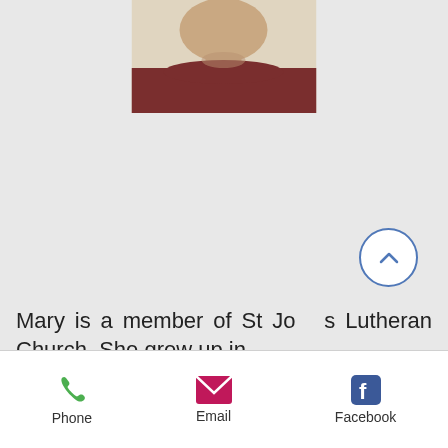[Figure (photo): Partial headshot photo of a person wearing a dark red top, showing the lower face and shoulders against a light background.]
Mary is a member of St Jo__s Lutheran Church. She grew up in
[Figure (infographic): Mobile app bottom navigation bar with three buttons: Phone (green phone icon), Email (pink envelope icon), Facebook (blue Facebook icon).]